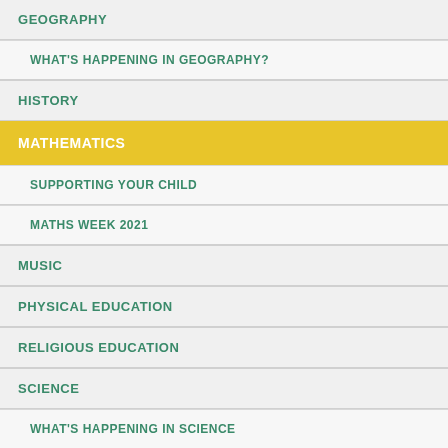GEOGRAPHY
WHAT'S HAPPENING IN GEOGRAPHY?
HISTORY
MATHEMATICS
SUPPORTING YOUR CHILD
MATHS WEEK 2021
MUSIC
PHYSICAL EDUCATION
RELIGIOUS EDUCATION
SCIENCE
WHAT'S HAPPENING IN SCIENCE